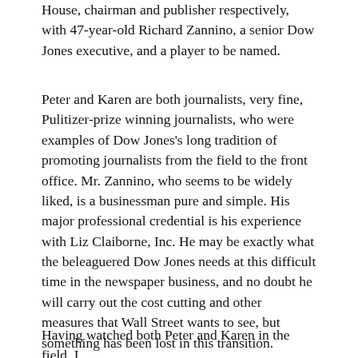House, chairman and publisher respectively, with 47-year-old Richard Zannino, a senior Dow Jones executive, and a player to be named.
Peter and Karen are both journalists, very fine, Pulitizer-prize winning journalists, who were examples of Dow Jones's long tradition of promoting journalists from the field to the front office. Mr. Zannino, who seems to be widely liked, is a businessman pure and simple. His major professional credential is his experience with Liz Claiborne, Inc. He may be exactly what the beleaguered Dow Jones needs at this difficult time in the newspaper business, and no doubt he will carry out the cost cutting and other measures that Wall Street wants to see, but something has been lost in this transition.
Having watched both Peter and Karen in the field, I